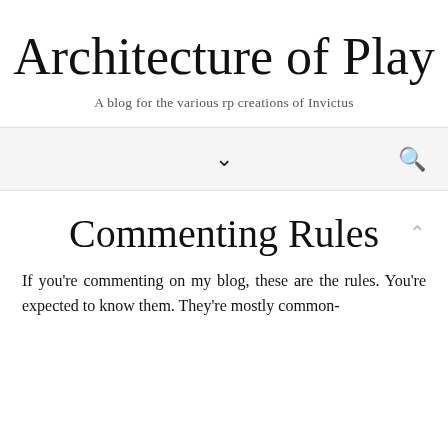Architecture of Play
A blog for the various rp creations of Invictus
Commenting Rules
If you're commenting on my blog, these are the rules. You're expected to know them. They're mostly common-